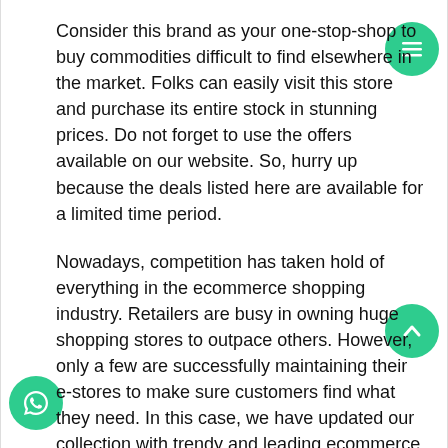Consider this brand as your one-stop-shop to buy commodities difficult to find elsewhere in the market. Folks can easily visit this store and purchase its entire stock in stunning prices. Do not forget to use the offers available on our website. So, hurry up because the deals listed here are available for a limited time period.
Nowadays, competition has taken hold of everything in the ecommerce shopping industry. Retailers are busy in owning huge shopping stores to outpace others. However, only a few are successfully maintaining their e-stores to make sure customers find what they need. In this case, we have updated our collection with trendy and leading ecommerce vendors in the world. Therefore, you can trust the India Jane discount codes we have displayed here.
Remember, new offers keep coming on this store every day. It means you can always find an opportunity to buy from this brand while saving lots of